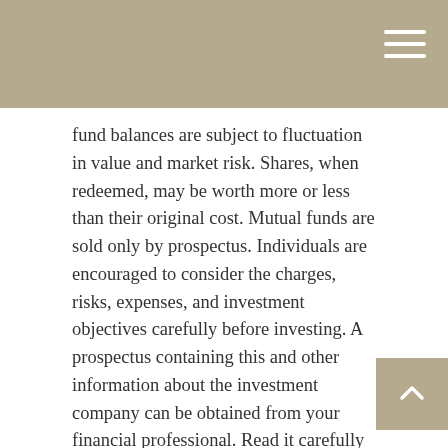fund balances are subject to fluctuation in value and market risk. Shares, when redeemed, may be worth more or less than their original cost. Mutual funds are sold only by prospectus. Individuals are encouraged to consider the charges, risks, expenses, and investment objectives carefully before investing. A prospectus containing this and other information about the investment company can be obtained from your financial professional. Read it carefully before you invest or send money.
Mutual Fund
A pooled investment account offered by an investment company. Mutual funds pool the monies of many investors and then invest the money to pursue the fund's stated objectives. The resulting portfolio of